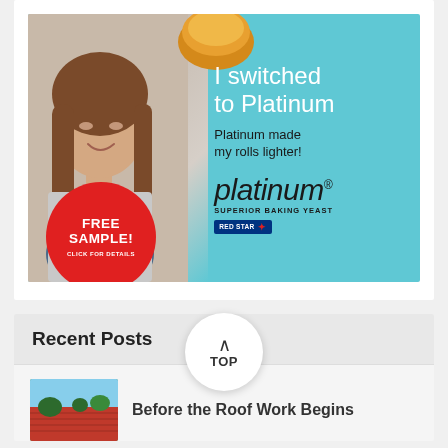[Figure (illustration): Advertisement banner for Platinum Superior Baking Yeast by Red Star. Shows a smiling woman with long brown hair holding a baked roll. Teal/cyan background on the right side with text 'I switched to Platinum', 'Platinum made my rolls lighter!', and the Platinum Superior Baking Yeast logo. A red circle on the left reads 'FREE SAMPLE! CLICK FOR DETAILS'. A bread roll is shown at top.]
Recent Posts
[Figure (photo): Thumbnail photo of a red corrugated metal roof with trees in background]
Before the Roof Work Begins